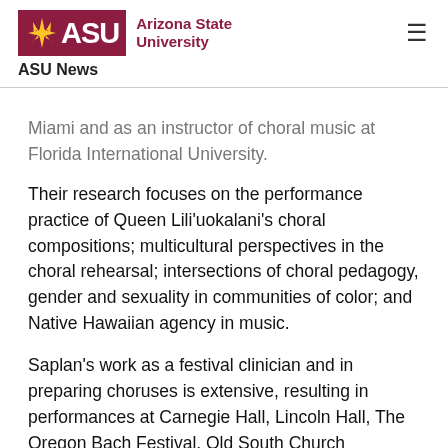ASU | Arizona State University
ASU News
Miami and as an instructor of choral music at Florida International University.
Their research focuses on the performance practice of Queen Lili'uokalani's choral compositions; multicultural perspectives in the choral rehearsal; intersections of choral pedagogy, gender and sexuality in communities of color; and Native Hawaiian agency in music.
Saplan's work as a festival clinician and in preparing choruses is extensive, resulting in performances at Carnegie Hall, Lincoln Hall, The Oregon Bach Festival, Old South Church (Boston), Church of the Holy Trinity (Philadelphia), La Madeleine (France) and the Harrogate Music Festival (United Kingdom).